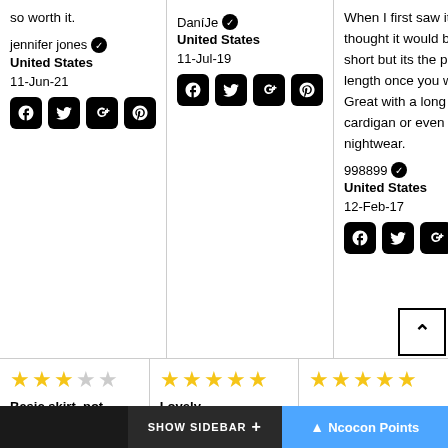so worth it.
jennifer jones ✓
United States
11-Jun-21
[Figure (infographic): Social share icons: Facebook, Twitter, Google+, Pinterest]
DaníJe ✓
United States
11-Jul-19
[Figure (infographic): Social share icons: Facebook, Twitter, Google+, Pinterest]
When I first saw it, I thought it would be too short but its the perfect length once you wear it. Great with a long cardigan or even as nightwear.
998899 ✓
United States
12-Feb-17
[Figure (infographic): Social share icons: Facebook, Twitter, Google+, Pinterest, and back-to-top button]
[Figure (infographic): Star rating: 3 out of 5 stars]
Basic skirt, not flashy or
[Figure (infographic): Star rating: 5 out of 5 stars]
Lovely
[Figure (infographic): Star rating: 5 out of 5 stars]
SHOW SIDEBAR +    ▲ Ncocon Points